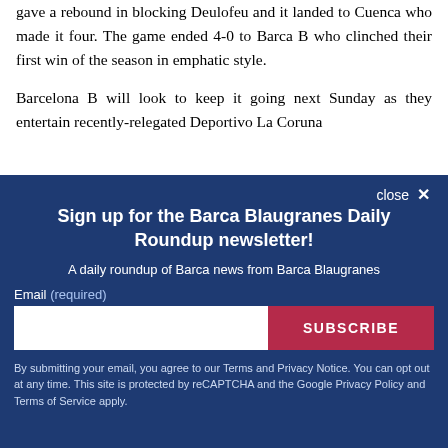gave a rebound in blocking Deulofeu and it landed to Cuenca who made it four. The game ended 4-0 to Barca B who clinched their first win of the season in emphatic style.
Barcelona B will look to keep it going next Sunday as they entertain recently-relegated Deportivo La Coruna
[Figure (other): Newsletter signup modal overlay with dark blue background. Contains close button, title 'Sign up for the Barca Blaugranes Daily Roundup newsletter!', subtitle 'A daily roundup of Barca news from Barca Blaugranes', email input field, SUBSCRIBE button, and privacy notice footer text.]